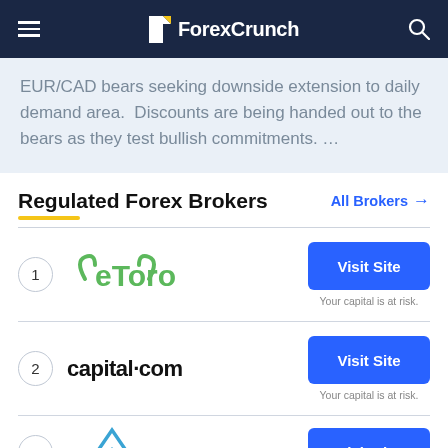ForexCrunch
EUR/CAD bears seeking downside extension to daily demand area.  Discounts are being handed out to the bears as they test bullish commitments. …
Regulated Forex Brokers
All Brokers →
| # | Broker | Action |
| --- | --- | --- |
| 1 | eToro | Visit Site
Your capital is at risk. |
| 2 | capital.com | Visit Site
Your capital is at risk. |
| 3 | AVA | Visit Site |